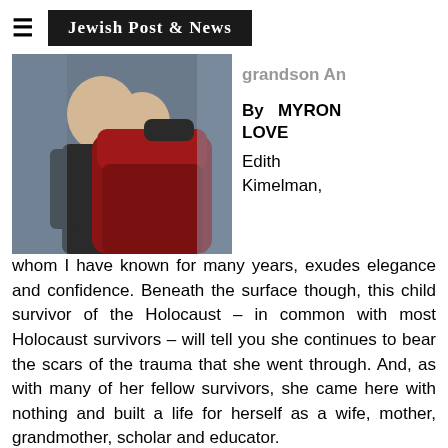≡  Jewish Post & News
[Figure (photo): Photo of a person wearing black top embracing another person wrapped in a red/maroon blanket]
grandson An
By MYRON LOVE
Edith Kimelman, whom I have known for many years, exudes elegance and confidence. Beneath the surface though, this child survivor of the Holocaust – in common with most Holocaust survivors – will tell you she continues to bear the scars of the trauma that she went through. And, as with many of her fellow survivors, she came here with nothing and built a life for herself as a wife, mother, grandmother, scholar and educator.
In recent years, Kimelman has devoted much of her time